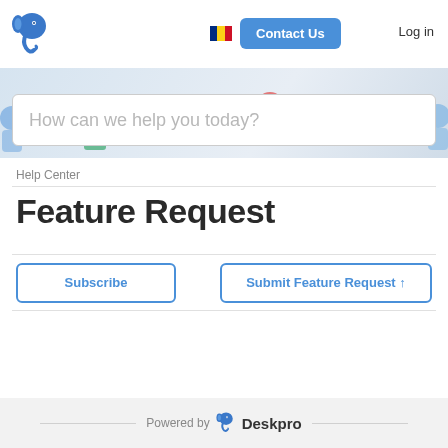[Figure (logo): Deskpro elephant logo in blue, top left header]
[Figure (illustration): Romanian flag icon (blue, yellow, red vertical stripes)]
Contact Us
Log in
[Figure (illustration): Hero banner with light blue background and decorative office/help-desk illustration shapes]
How can we help you today?
Help Center
Feature Request
Subscribe
Submit Feature Request ↑
Powered by  Deskpro